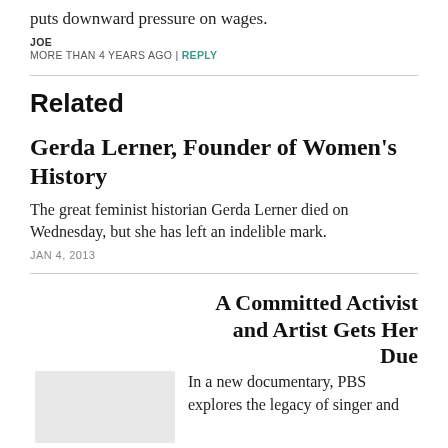puts downward pressure on wages.
JOE
MORE THAN 4 YEARS AGO | REPLY
Related
Gerda Lerner, Founder of Women's History
The great feminist historian Gerda Lerner died on Wednesday, but she has left an indelible mark.
JAN 4, 2013
A Committed Activist and Artist Gets Her Due
Courtesy Holly Near
In a new documentary, PBS explores the legacy of singer and activist Holly Near.
MAR 1, 2019